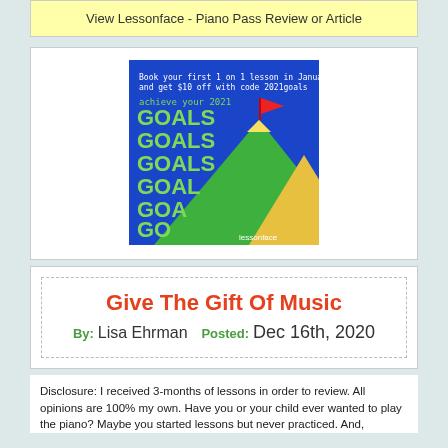View Lessonface - Piano Pass Review or Article
[Figure (illustration): Lessonface advertisement: 'Book your first 1 on 1 lesson in January and get $10 off with code 2021goals' — achieve your 2021 GOALS GOALS GOALS GOALS GOALS GOALS GO with mountain and flag illustration, Lessonface branding]
Give The Gift Of Music
By: Lisa Ehrman   Posted: Dec 16th, 2020
Disclosure: I received 3-months of lessons in order to review. All opinions are 100% my own.  Have you or your child ever wanted to play the piano? Maybe you started lessons but never practiced. And,